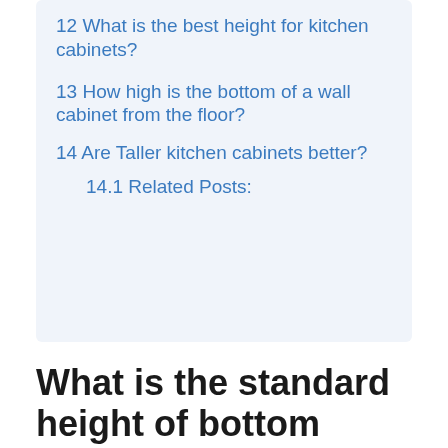12 What is the best height for kitchen cabinets?
13 How high is the bottom of a wall cabinet from the floor?
14 Are Taller kitchen cabinets better?
14.1 Related Posts:
What is the standard height of bottom kitchen cabinets?
Kitchen wall cabinet heights vary from